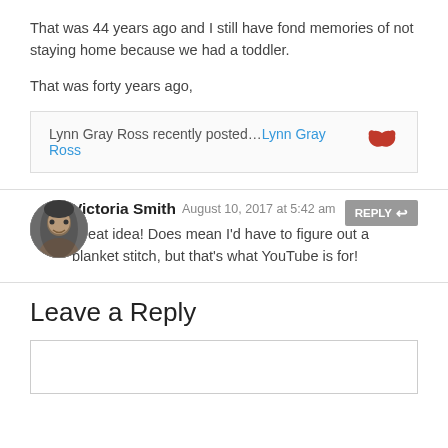That was 44 years ago and I still have fond memories of not staying home because we had a toddler.
That was forty years ago,
Lynn Gray Ross recently posted…Lynn Gray Ross [bird icon]
Victoria Smith August 10, 2017 at 5:42 am
Great idea! Does mean I'd have to figure out a blanket stitch, but that's what YouTube is for!
Leave a Reply